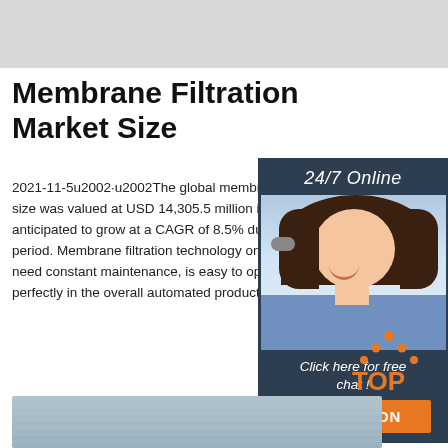[Figure (photo): Top gray banner placeholder image]
Membrane Filtration Market Size
2021-11-5u2002·u2002The global membrane filtration size was valued at USD 14,305.5 million in 2019 and anticipated to grow at a CAGR of 8.5% during the forecast period. Membrane filtration technology once installed does not need constant maintenance, is easy to operate and integrates perfectly in the overall automated production process.
[Figure (photo): Side panel with agent photo, 24/7 Online label, Click here for free chat text, and QUOTATION button on dark navy background]
[Figure (logo): Orange dot triangle TOP logo]
[Figure (photo): Bottom strip showing membrane filtration material close-up]
Get Price